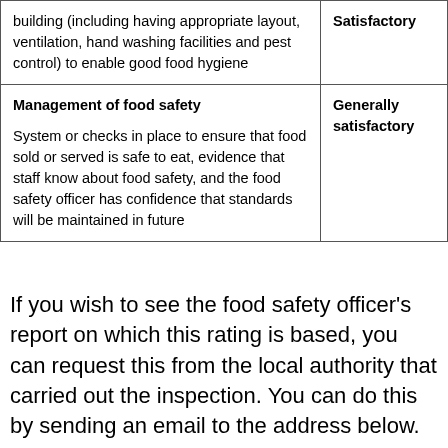| Category | Rating |
| --- | --- |
| building (including having appropriate layout, ventilation, hand washing facilities and pest control) to enable good food hygiene | Satisfactory |
| Management of food safety

System or checks in place to ensure that food sold or served is safe to eat, evidence that staff know about food safety, and the food safety officer has confidence that standards will be maintained in future | Generally satisfactory |
If you wish to see the food safety officer's report on which this rating is based, you can request this from the local authority that carried out the inspection. You can do this by sending an email to the address below. The local authority will consider your request and will usually send you a copy of the report. In some cases, the local authority may decide that they cannot do so but will let